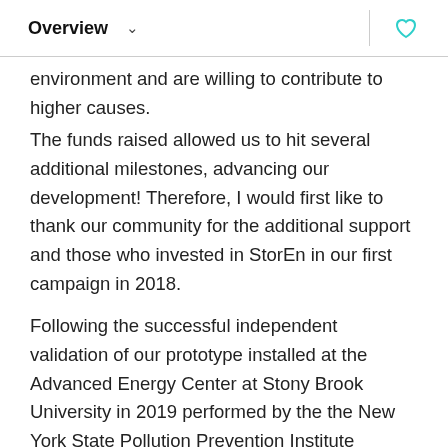Overview
environment and are willing to contribute to higher causes.
The funds raised allowed us to hit several additional milestones, advancing our development! Therefore, I would first like to thank our community for the additional support and those who invested in StorEn in our first campaign in 2018.
Following the successful independent validation of our prototype installed at the Advanced Energy Center at Stony Brook University in 2019 performed by the the New York State Pollution Prevention Institute (NYSP2I) in Rochester in NYS, we